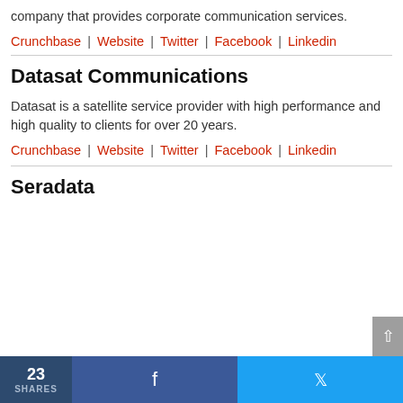company that provides corporate communication services.
Crunchbase | Website | Twitter | Facebook | Linkedin
Datasat Communications
Datasat is a satellite service provider with high performance and high quality to clients for over 20 years.
Crunchbase | Website | Twitter | Facebook | Linkedin
Seradata
23 SHARES  [Facebook share]  [Twitter share]